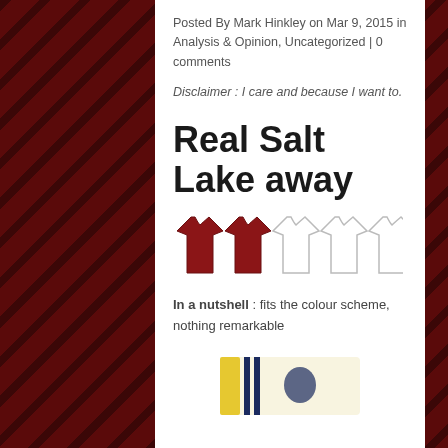Posted By Mark Hinkley on Mar 9, 2015 in Analysis & Opinion, Uncategorized | 0 comments
Disclaimer : I care and because I want to.
Real Salt Lake away
[Figure (infographic): Five soccer shirt icons in a row, first two filled in dark red/maroon, last three outlined in light gray]
In a nutshell : fits the colour scheme, nothing remarkable
[Figure (photo): Partial view of a soccer jersey at the bottom of the page]